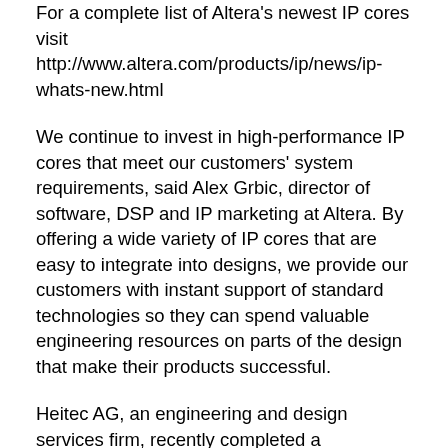For a complete list of Altera's newest IP cores visit http://www.altera.com/products/ip/news/ip-whats-new.html
We continue to invest in high-performance IP cores that meet our customers' system requirements, said Alex Grbic, director of software, DSP and IP marketing at Altera. By offering a wide variety of IP cores that are easy to integrate into designs, we provide our customers with instant support of standard technologies so they can spend valuable engineering resources on parts of the design that make their products successful.
Heitec AG, an engineering and design services firm, recently completed a customer's project using Arria V GZ and Stratix V GX FPGAs for the development of a high-resolution image processing application